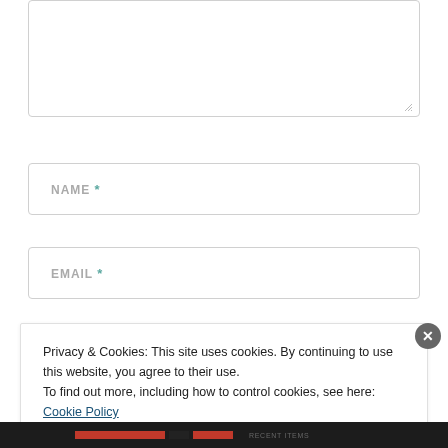[Figure (screenshot): Textarea input box (empty, with resize handle at bottom right)]
NAME *
EMAIL *
Privacy & Cookies: This site uses cookies. By continuing to use this website, you agree to their use.
To find out more, including how to control cookies, see here: Cookie Policy
Close and accept